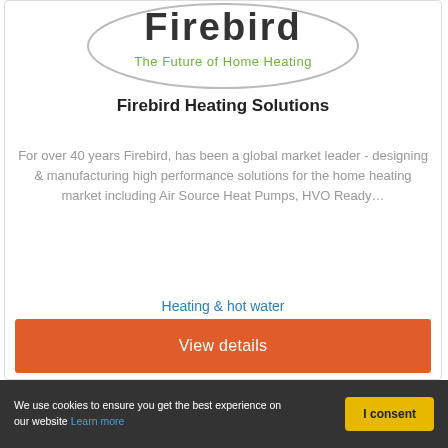[Figure (logo): Firebird logo with tagline 'The Future of Home Heating' inside an oval, partially visible at top]
Firebird Heating Solutions
For over 40 years Firebird, has been a global market leader - designing & manufacturing high performance solutions for the home heating market including Air Source Heat Pumps, HVO Ready…
Heating & hot water
View details
We use cookies to ensure you get the best experience on our website Learn more
I consent